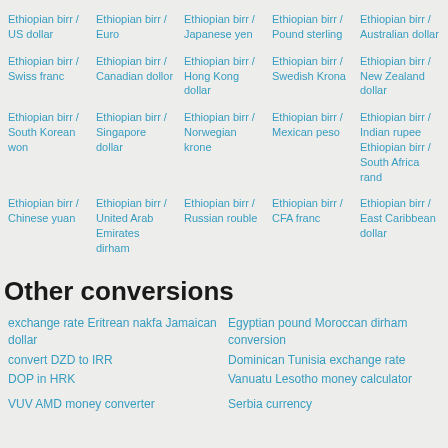Ethiopian birr / US dollar
Ethiopian birr / Euro
Ethiopian birr / Japanese yen
Ethiopian birr / Pound sterling
Ethiopian birr / Australian dollar
Ethiopian birr / Swiss franc
Ethiopian birr / Canadian dollor
Ethiopian birr / Hong Kong dollar
Ethiopian birr / Swedish Krona
Ethiopian birr / New Zealand dollar
Ethiopian birr / South Korean won
Ethiopian birr / Singapore dollar
Ethiopian birr / Norwegian krone
Ethiopian birr / Mexican peso
Ethiopian birr / Indian rupee
Ethiopian birr / South Africa rand
Ethiopian birr / Chinese yuan
Ethiopian birr / United Arab Emirates dirham
Ethiopian birr / Russian rouble
Ethiopian birr / CFA franc
Ethiopian birr / East Caribbean dollar
Other conversions
exchange rate Eritrean nakfa Jamaican dollar
convert DZD to IRR
DOP in HRK
Egyptian pound Moroccan dirham conversion
Dominican Tunisia exchange rate
Vanuatu Lesotho money calculator
VUV AMD money converter
Serbia currency